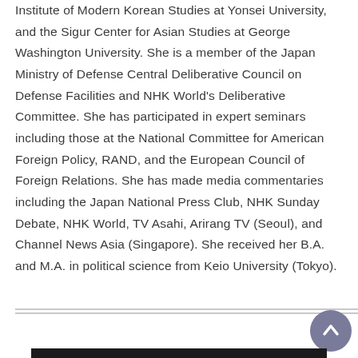Institute of Modern Korean Studies at Yonsei University, and the Sigur Center for Asian Studies at George Washington University. She is a member of the Japan Ministry of Defense Central Deliberative Council on Defense Facilities and NHK World's Deliberative Committee. She has participated in expert seminars including those at the National Committee for American Foreign Policy, RAND, and the European Council of Foreign Relations. She has made media commentaries including the Japan National Press Club, NHK Sunday Debate, NHK World, TV Asahi, Arirang TV (Seoul), and Channel News Asia (Singapore). She received her B.A. and M.A. in political science from Keio University (Tokyo).